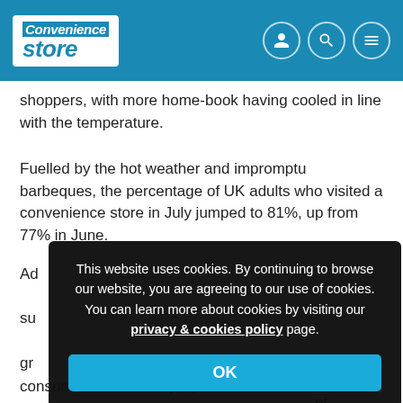Convenience Store
shoppers, with more home-book having cooled in line with the temperature.
Fuelled by the hot weather and impromptu barbeques, the percentage of UK adults who visited a convenience store in July jumped to 81%, up from 77% in June.
Ad... su... gr...
"T... th... in... consumed immediately, up from 29% to 35%", HIM shopper insights director Katie Littler said.
This website uses cookies. By continuing to browse our website, you are agreeing to our use of cookies. You can learn more about cookies by visiting our privacy & cookies policy page.